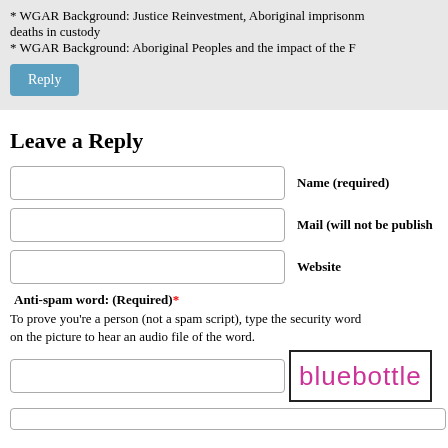* WGAR Background: Justice Reinvestment, Aboriginal imprisonment, deaths in custody
* WGAR Background: Aboriginal Peoples and the impact of the F
Leave a Reply
Name (required)
Mail (will not be published)
Website
Anti-spam word: (Required)*
To prove you're a person (not a spam script), type the security word on the picture to hear an audio file of the word.
[Figure (other): CAPTCHA image showing the word 'bluebottle' in pink handwritten-style font on white background with black border]